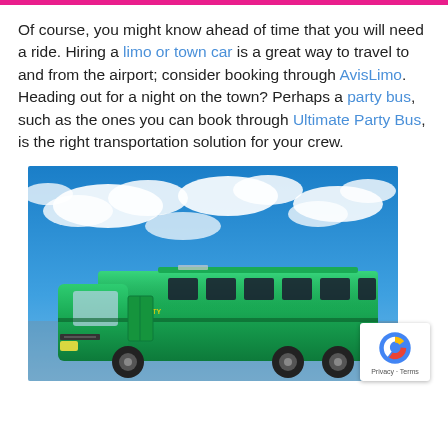Of course, you might know ahead of time that you will need a ride. Hiring a limo or town car is a great way to travel to and from the airport; consider booking through AvisLimo. Heading out for a night on the town? Perhaps a party bus, such as the ones you can book through Ultimate Party Bus, is the right transportation solution for your crew.
[Figure (photo): A green party bus photographed from outside against a bright blue sky with white clouds. The bus has tinted windows and green metallic paint.]